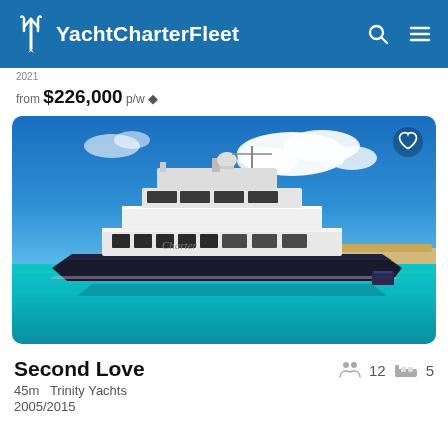YachtCharterFleet
from $226,000 p/w ◆
[Figure (photo): Luxury motor yacht 'Second Love' photographed in turquoise tropical waters under a blue sky with white clouds. The yacht is white and dark navy/black, multi-deck superyacht.]
Second Love
45m   Trinity Yachts
2005/2015
👥 12  🛏 5